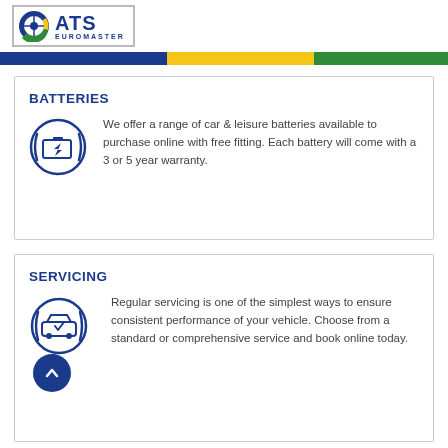[Figure (logo): ATS Euromaster logo with blue text and green/yellow circular icon]
[Figure (infographic): Blue navigation bar strip with blue, yellow and green sections]
BATTERIES
[Figure (illustration): Blue circular icon with a battery/lightning bolt symbol inside]
We offer a range of car & leisure batteries available to purchase online with free fitting. Each battery will come with a 3 or 5 year warranty.
SERVICING
[Figure (illustration): Blue circular icon with a car and checkmark/service symbol inside, with a blue scroll-to-top button overlapping]
Regular servicing is one of the simplest ways to ensure consistent performance of your vehicle. Choose from a standard or comprehensive service and book online today.